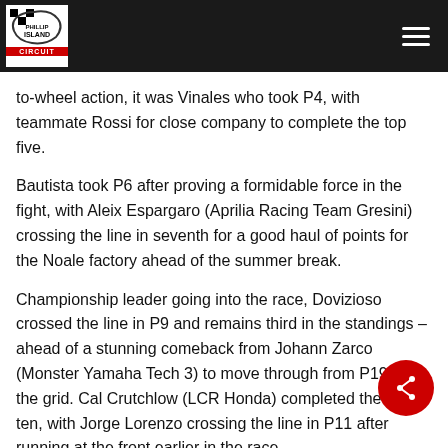Phillip Island Circuit
to-wheel action, it was Vinales who took P4, with teammate Rossi for close company to complete the top five.
Bautista took P6 after proving a formidable force in the fight, with Aleix Espargaro (Aprilia Racing Team Gresini) crossing the line in seventh for a good haul of points for the Noale factory ahead of the summer break.
Championship leader going into the race, Dovizioso crossed the line in P9 and remains third in the standings – ahead of a stunning comeback from Johann Zarco (Monster Yamaha Tech 3) to move through from P19 on the grid. Cal Crutchlow (LCR Honda) completed the top ten, with Jorge Lorenzo crossing the line in P11 after running at the front earlier in the race.
Danilo Petrucci was another who fell back, taking twelfth ahead of another double points finish for Red Bull KTM Factory Racing's Pol Espargaro and Bradley Smith. Jack Miller (FG 0.0 Marc VDS) completed the top fifteen.